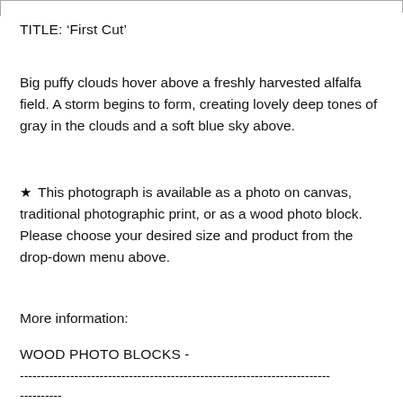TITLE: 'First Cut'
Big puffy clouds hover above a freshly harvested alfalfa field. A storm begins to form, creating lovely deep tones of gray in the clouds and a soft blue sky above.
★ This photograph is available as a photo on canvas, traditional photographic print, or as a wood photo block. Please choose your desired size and product from the drop-down menu above.
More information:
WOOD PHOTO BLOCKS -
--------------------------------------------------------------------------
----------